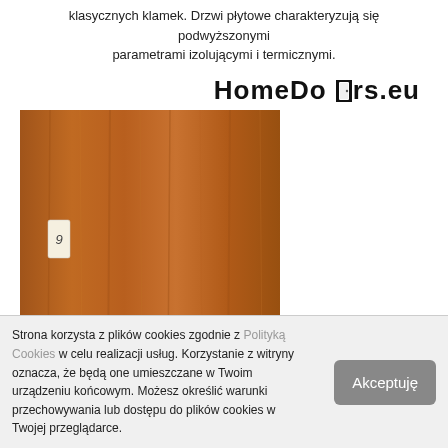klasycznych klamek. Drzwi płytowe charakteryzują się podwyższonymi parametrami izolującymi i termicznymi.
[Figure (logo): HomeDoors.eu logo with stylized door icon replacing letters 'oo']
[Figure (photo): Wooden flat-panel interior door in warm brown/orange wood veneer finish with a small white label/plate on the left side, photographed straight-on]
Strona korzysta z plików cookies zgodnie z Polityką Cookies w celu realizacji usług. Korzystanie z witryny oznacza, że będą one umieszczane w Twoim urządzeniu końcowym. Możesz określić warunki przechowywania lub dostępu do plików cookies w Twojej przeglądarce.